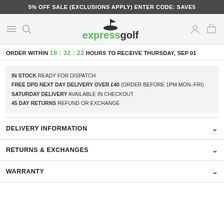5% OFF SALE (EXCLUSIONS APPLY) ENTER CODE: SAVE5
[Figure (logo): Express Golf logo with golf flag icon, 'express' in green and 'golf' in dark grey]
ORDER WITHIN 18:32:22 HOURS TO RECEIVE THURSDAY, SEP 01
IN STOCK READY FOR DISPATCH
FREE DPD NEXT DAY DELIVERY OVER £40 (ORDER BEFORE 1PM MON-FRI)
SATURDAY DELIVERY AVAILABLE IN CHECKOUT
45 DAY RETURNS REFUND OR EXCHANGE
DELIVERY INFORMATION
RETURNS & EXCHANGES
WARRANTY